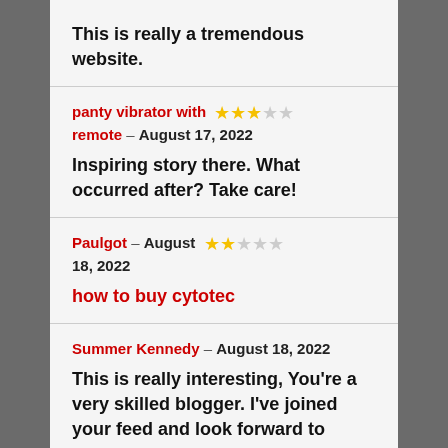This is really a tremendous website.
panty vibrator with remote – August 17, 2022
Inspiring story there. What occurred after? Take care!
Paulgot – August 18, 2022
how to buy cytotec
Summer Kennedy – August 18, 2022
This is really interesting, You're a very skilled blogger. I've joined your feed and look forward to seeking more